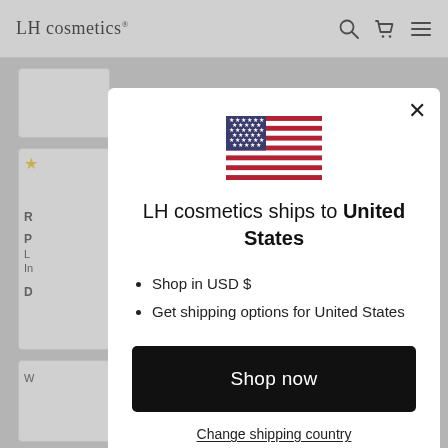LH cosmetics® [navigation bar with search, cart, and menu icons]
[Figure (screenshot): Background webpage content showing product cards partially visible behind modal overlay]
[Figure (illustration): US flag emoji/icon centered at top of modal dialog]
LH cosmetics ships to United States
Shop in USD $
Get shipping options for United States
Shop now
Change shipping country